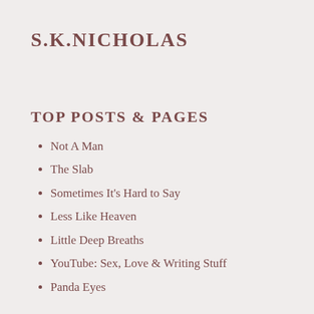S.K.NICHOLAS
TOP POSTS & PAGES
Not A Man
The Slab
Sometimes It's Hard to Say
Less Like Heaven
Little Deep Breaths
YouTube: Sex, Love & Writing Stuff
Panda Eyes